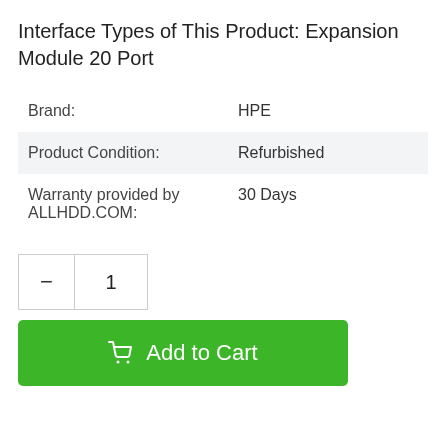Interface Types of This Product: Expansion Module 20 Port
| Brand: | HPE |
| Product Condition: | Refurbished |
| Warranty provided by ALLHDD.COM: | 30 Days |
– 1
Add to Cart